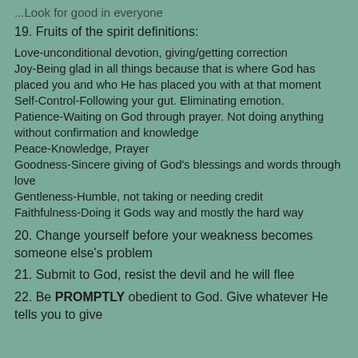...Look for good in everyone
19. Fruits of the spirit definitions:
Love-unconditional devotion, giving/getting correction
Joy-Being glad in all things because that is where God has placed you and who He has placed you with at that moment
Self-Control-Following your gut. Eliminating emotion.
Patience-Waiting on God through prayer. Not doing anything without confirmation and knowledge
Peace-Knowledge, Prayer
Goodness-Sincere giving of God's blessings and words through love
Gentleness-Humble, not taking or needing credit
Faithfulness-Doing it Gods way and mostly the hard way
20. Change yourself before your weakness becomes someone else's problem
21. Submit to God, resist the devil and he will flee
22. Be PROMPTLY obedient to God. Give whatever He tells you to give